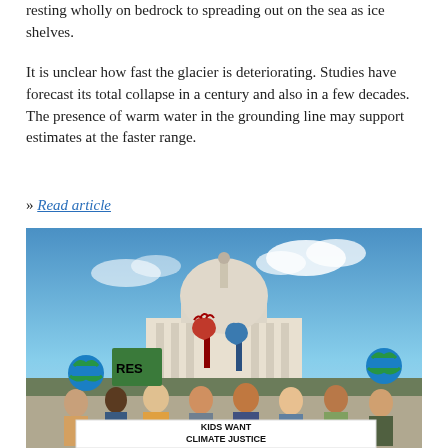resting wholly on bedrock to spreading out on the sea as ice shelves.
It is unclear how fast the glacier is deteriorating. Studies have forecast its total collapse in a century and also in a few decades. The presence of warm water in the grounding line may support estimates at the faster range.
» Read article
[Figure (photo): A crowd of young climate activists standing in front of a domed government building on a sunny day, holding signs including a banner reading 'KIDS WANT CLIMATE JUSTICE', signs showing Earth globes, and raised fist signs.]